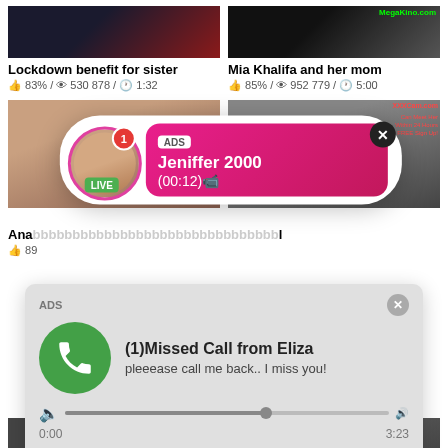[Figure (screenshot): Video thumbnail - Lockdown benefit for sister]
Lockdown benefit for sister
83% / 530 878 / 1:32
[Figure (screenshot): Video thumbnail - Mia Khalifa and her mom]
Mia Khalifa and her mom
85% / 952 779 / 5:00
[Figure (screenshot): Two video thumbnails with live ad overlay - Jeniffer 2000 LIVE ADS (00:12)]
Ana
89
[Figure (screenshot): Missed call ad overlay - (1)Missed Call from Eliza, pleeease call me back.. I miss you! with audio player 0:00 / 3:23]
[Figure (screenshot): Partial bottom video thumbnails]